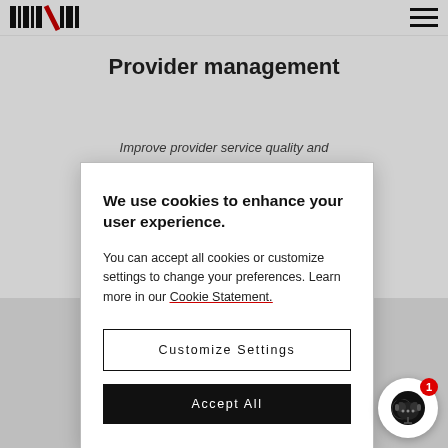[Figure (logo): Company logo with barcode-style graphic and text, top left]
Provider management
Improve provider service quality and accountability ... work
We use cookies to enhance your user experience.

You can accept all cookies or customize settings to change your preferences. Learn more in our Cookie Statement.
Customize Settings
Accept All
Business intelligence